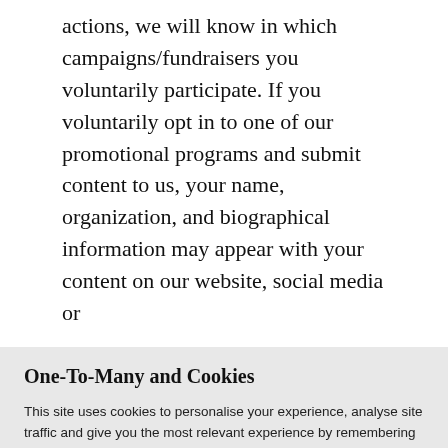actions, we will know in which campaigns/fundraisers you voluntarily participate. If you voluntarily opt in to one of our promotional programs and submit content to us, your name, organization, and biographical information may appear with your content on our website, social media or
One-To-Many and Cookies
This site uses cookies to personalise your experience, analyse site traffic and give you the most relevant experience by remembering your preferences and repeat visits. By Clicking "ACCEPT ALL" or continuing to browse the site you are agreeing to our use of cookies. However, you may visit "Cookie Settings" to provide a controlled consent.
Cookie Settings | Accept All